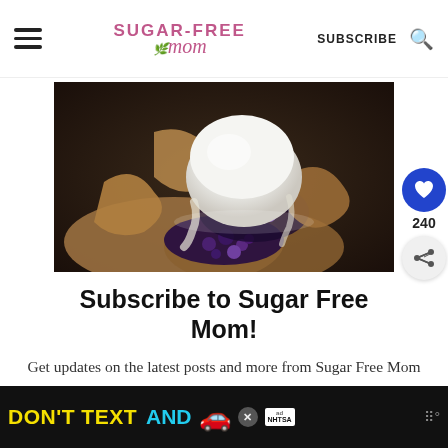Sugar-Free Mom — SUBSCRIBE
[Figure (photo): A dark moody food photo of a blueberry galette or hand pie with a scoop of white ice cream on top, berries spilling out, on a dark surface]
Subscribe to Sugar Free Mom!
Get updates on the latest posts and more from Sugar Free Mom straight to
[Figure (infographic): Advertisement banner: DON'T TEXT AND (car emoji) with NHTSA logo and ad badge, close button X, weather widget dots]